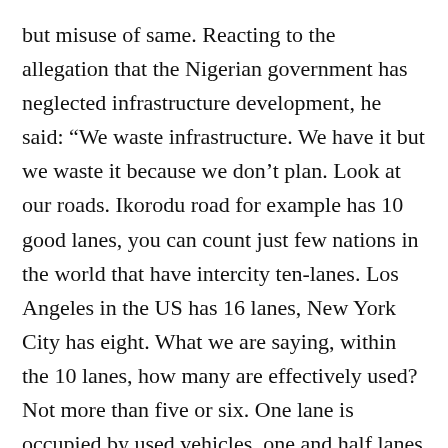but misuse of same. Reacting to the allegation that the Nigerian government has neglected infrastructure development, he said: “We waste infrastructure. We have it but we waste it because we don’t plan. Look at our roads. Ikorodu road for example has 10 good lanes, you can count just few nations in the world that have intercity ten-lanes. Los Angeles in the US has 16 lanes, New York City has eight. What we are saying, within the 10 lanes, how many are effectively used? Not more than five or six. One lane is occupied by used vehicles, one and half lanes are used by those selling roasted plantain, cocoyam, peanut; one is used by pure water sellers, shoe menders are on one lane. In Apana, one lane is permanently